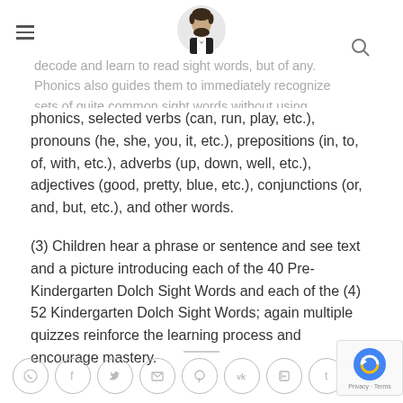decode and learn to read sight words, but of any. Phonics also guides them to immediately recognize sets of quite common sight words without using
phonics, selected verbs (can, run, play, etc.), pronouns (he, she, you, it, etc.), prepositions (in, to, of, with, etc.), adverbs (up, down, well, etc.), adjectives (good, pretty, blue, etc.), conjunctions (or, and, but, etc.), and other words.
(3) Children hear a phrase or sentence and see text and a picture introducing each of the 40 Pre-Kindergarten Dolch Sight Words and each of the (4) 52 Kindergarten Dolch Sight Words; again multiple quizzes reinforce the learning process and encourage mastery.